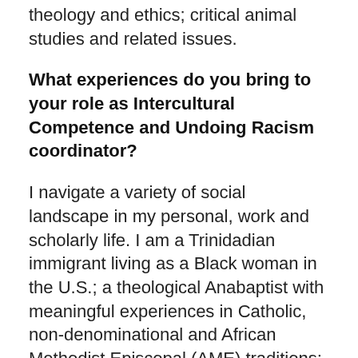theology and ethics; critical animal studies and related issues.
What experiences do you bring to your role as Intercultural Competence and Undoing Racism coordinator?
I navigate a variety of social landscape in my personal, work and scholarly life. I am a Trinidadian immigrant living as a Black woman in the U.S.; a theological Anabaptist with meaningful experiences in Catholic, non-denominational and African Methodist Episcopal (AME) traditions; and an academic-activist who has worked on a